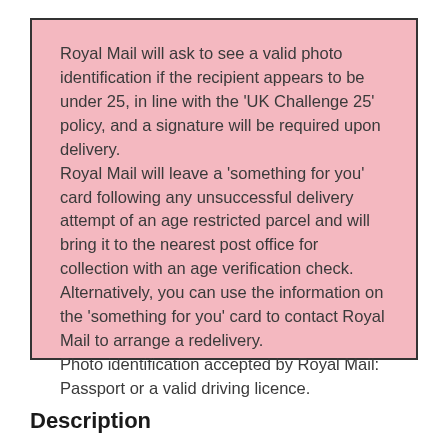Royal Mail will ask to see a valid photo identification if the recipient appears to be under 25, in line with the 'UK Challenge 25' policy, and a signature will be required upon delivery.
Royal Mail will leave a 'something for you' card following any unsuccessful delivery attempt of an age restricted parcel and will bring it to the nearest post office for collection with an age verification check. Alternatively, you can use the information on the 'something for you' card to contact Royal Mail to arrange a redelivery.
Photo identification accepted by Royal Mail: Passport or a valid driving licence.
Description